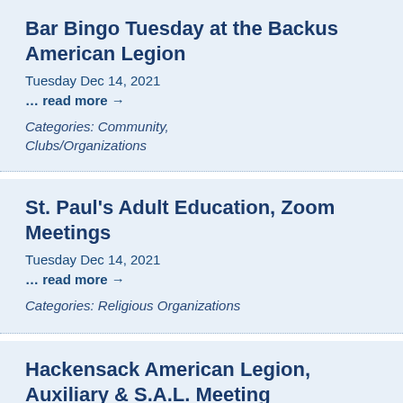Bar Bingo Tuesday at the Backus American Legion
Tuesday Dec 14, 2021
… read more →
Categories: Community, Clubs/Organizations
St. Paul's Adult Education, Zoom Meetings
Tuesday Dec 14, 2021
… read more →
Categories: Religious Organizations
Hackensack American Legion, Auxiliary & S.A.L. Meeting